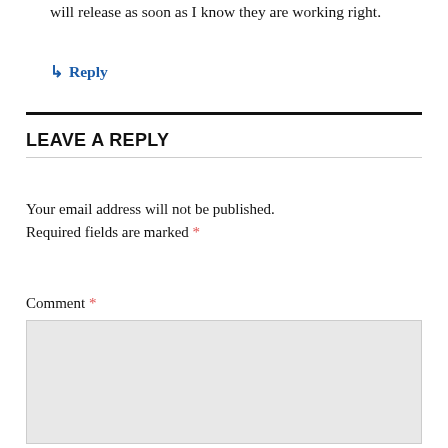will release as soon as I know they are working right.
↳ Reply
LEAVE A REPLY
Your email address will not be published. Required fields are marked *
Comment *